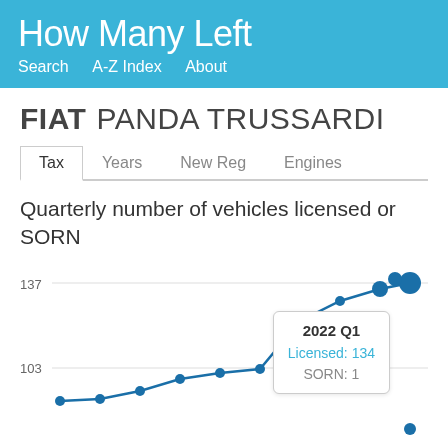How Many Left — Search  A-Z Index  About
FIAT PANDA TRUSSARDI
Tax  Years  New Reg  Engines
Quarterly number of vehicles licensed or SORN
[Figure (line-chart): Line chart showing quarterly licensed and SORN counts for Fiat Panda Trussardi. Tooltip shows 2022 Q1: Licensed 134, SORN 1. Y-axis shows values around 103 to 137.]